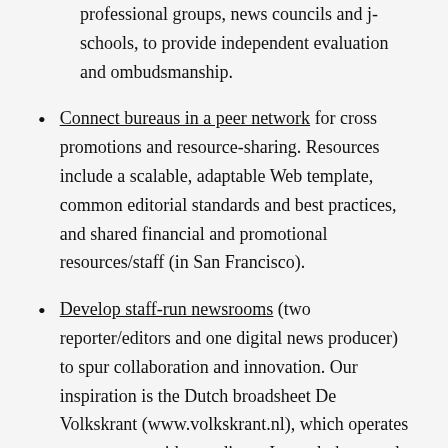professional groups, news councils and j-schools, to provide independent evaluation and ombudsmanship.
Connect bureaus in a peer network for cross promotions and resource-sharing. Resources include a scalable, adaptable Web template, common editorial standards and best practices, and shared financial and promotional resources/staff (in San Francisco).
Develop staff-run newsrooms (two reporter/editors and one digital news producer) to spur collaboration and innovation. Our inspiration is the Dutch broadsheet De Volkskrant (www.volkskrant.nl), which operates a newsroom without editors. Instead, the agenda is set by